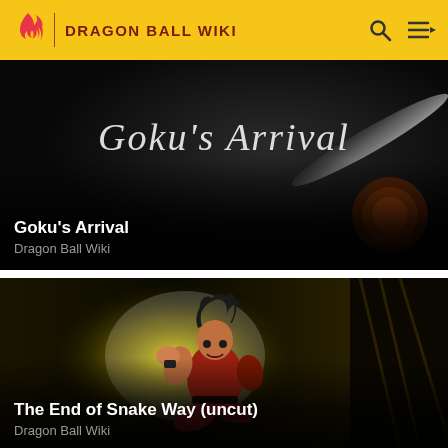DRAGON BALL WIKI
[Figure (screenshot): Dark background with stylized text 'Goku's Arrival' in white, with a glowing comet/dragon ball in the lower right]
Goku's Arrival
Dragon Ball Wiki
[Figure (illustration): Anime illustration of young Goku in fighting pose wearing red outfit, surrounded by yellow glow and dark tunnel background]
The End of Snake Way (uncut)
Dragon Ball Wiki